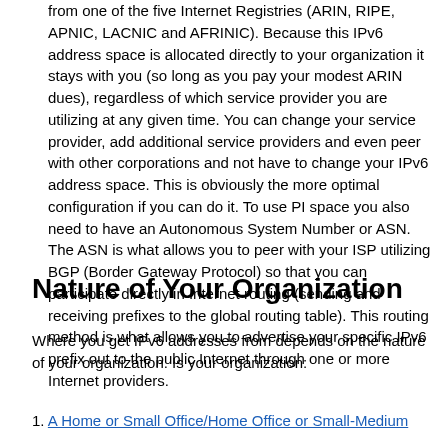from one of the five Internet Registries (ARIN, RIPE, APNIC, LACNIC and AFRINIC). Because this IPv6 address space is allocated directly to your organization it stays with you (so long as you pay your modest ARIN dues), regardless of which service provider you are utilizing at any given time. You can change your service provider, add additional service providers and even peer with other corporations and not have to change your IPv6 address space. This is obviously the more optimal configuration if you can do it. To use PI space you also need to have an Autonomous System Number or ASN. The ASN is what allows you to peer with your ISP utilizing BGP (Border Gateway Protocol) so that you can participate directly in Internet routing (sending and receiving prefixes to the global routing table). This routing method is what allows you to advertise your specific IPv6 prefix out to the public Internet through one or more Internet providers.
Nature of Your Organization
Where you get IPv6 addresses from depends on the nature of your organization. Is your organization:
1. A Home or Small Office/Home Office or Small-Medium